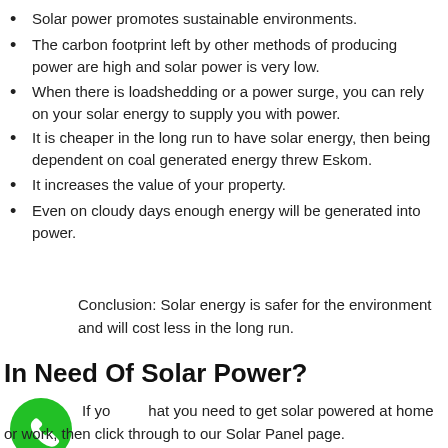Solar power promotes sustainable environments.
The carbon footprint left by other methods of producing power are high and solar power is very low.
When there is loadshedding or a power surge, you can rely on your solar energy to supply you with power.
It is cheaper in the long run to have solar energy, then being dependent on coal generated energy threw Eskom.
It increases the value of your property.
Even on cloudy days enough energy will be generated into power.
Conclusion: Solar energy is safer for the environment and will cost less in the long run.
In Need Of Solar Power?
If you that you need to get solar powered at home or work, then click through to our Solar Panel page.